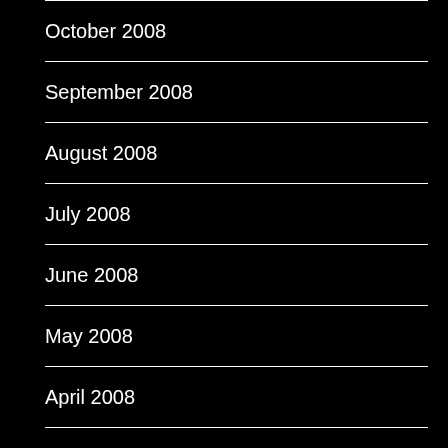October 2008
September 2008
August 2008
July 2008
June 2008
May 2008
April 2008
March 2008
February 2008
January 2008